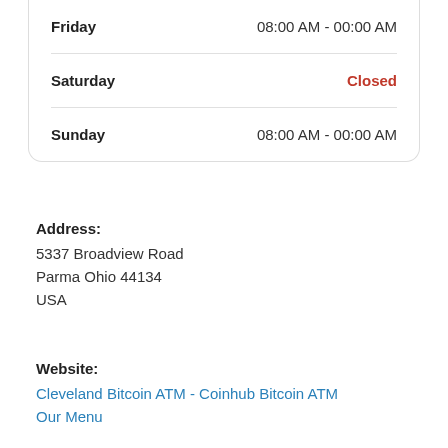| Day | Hours |
| --- | --- |
| Friday | 08:00 AM - 00:00 AM |
| Saturday | Closed |
| Sunday | 08:00 AM - 00:00 AM |
Address:
5337 Broadview Road
Parma Ohio 44134
USA
Website:
Cleveland Bitcoin ATM - Coinhub Bitcoin ATM
Our Menu